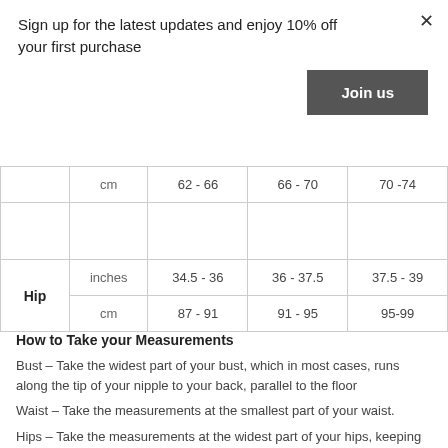Sign up for the latest updates and enjoy 10% off your first purchase
Join us
|  | unit | col1 | col2 | col3 |
| --- | --- | --- | --- | --- |
|  | cm | 62 - 66 | 66 - 70 | 70 -74 |
|  |  |  |  |  |
| Hip | inches | 34.5 - 36 | 36 - 37.5 | 37.5 - 39 |
| Hip | cm | 87 - 91 | 91 - 95 | 95-99 |
How to Take your Measurements
Bust – Take the widest part of your bust, which in most cases, runs along the tip of your nipple to your back, parallel to the floor
Waist – Take the measurements at the smallest part of your waist.
Hips – Take the measurements at the widest part of your hips, keeping the measurement tape parallel to the floor.